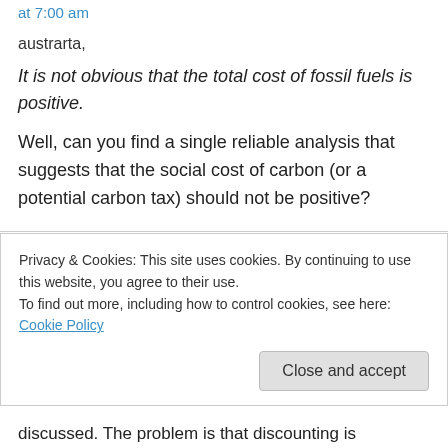at 7:00 am
austrarta,
It is not obvious that the total cost of fossil fuels is positive.
Well, can you find a single reliable analysis that suggests that the social cost of carbon (or a potential carbon tax) should not be positive?
Pekka Pirilä on December 16, 2014 at 7:31 am
Privacy & Cookies: This site uses cookies. By continuing to use this website, you agree to their use.
To find out more, including how to control cookies, see here: Cookie Policy
Close and accept
discussed. The problem is that discounting is